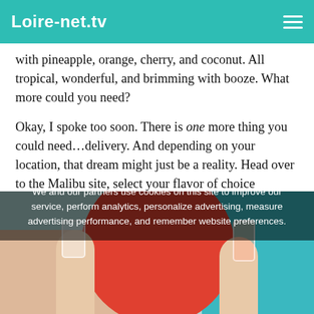Loire-net.tv
with pineapple, orange, cherry, and coconut. All tropical, wonderful, and brimming with booze. What more could you need?
Okay, I spoke too soon. There is one more thing you could need…delivery. And depending on your location, that dream might just be a reality. Head over to the Malibu site, select your flavor of choice (personally, the Daiquiri has got my full attention), and plug in your zip code. It'll identify nearby locations for pick-up and whether 1-hour delivery is an option. Not to brag, but it is for me, and I fully intend on using it.
[Figure (photo): Photo of two hands clinking cocktail glasses over a red plate, with a teal pool background and peach-colored surface, partially obscured by a cookie consent overlay.]
We and our partners use cookies on this site to improve our service, perform analytics, personalize advertising, measure advertising performance, and remember website preferences.